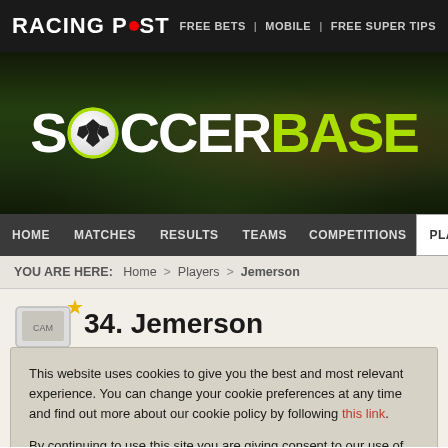RACING POST | FREE BETS | MOBILE | FREE SUPER TIPS
[Figure (logo): Soccerbase logo with soccer ball graphic on dark green stadium background]
HOME | MATCHES | RESULTS | TEAMS | COMPETITIONS | PLAYERS
YOU ARE HERE: Home > Players > Jemerson
34. Jemerson
This website uses cookies to give you the best and most relevant experience. You can change your cookie preferences at any time and find out more about our cookie policy by following this link.

By continuing to use this site you are giving consent to our use of cookies on Racing Post websites in accordance with our cookie policy.
Close